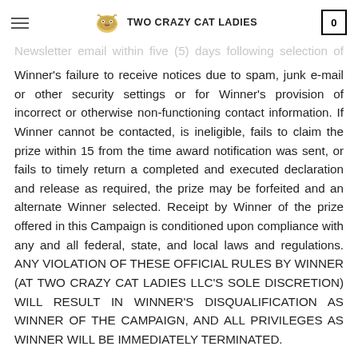TWO CRAZY CAT LADIES
Newsletter email within five (5) days following selection of Winner. Two Crazy Cat Ladies, LLC shall have no liability for Winner’s failure to receive notices due to spam, junk e-mail or other security settings or for Winner’s provision of incorrect or otherwise non-functioning contact information. If Winner cannot be contacted, is ineligible, fails to claim the prize within 15 from the time award notification was sent, or fails to timely return a completed and executed declaration and release as required, the prize may be forfeited and an alternate Winner selected. Receipt by Winner of the prize offered in this Campaign is conditioned upon compliance with any and all federal, state, and local laws and regulations. ANY VIOLATION OF THESE OFFICIAL RULES BY WINNER (AT TWO CRAZY CAT LADIES LLC’S SOLE DISCRETION) WILL RESULT IN WINNER’S DISQUALIFICATION AS WINNER OF THE CAMPAIGN, AND ALL PRIVILEGES AS WINNER WILL BE IMMEDIATELY TERMINATED.